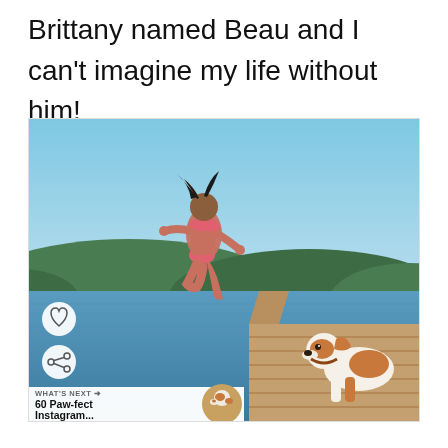Brittany named Beau and I can't imagine my life without him!
[Figure (photo): A woman in a pink bikini jumping off a dock into a lake, with a Brittany spaniel dog lying on the dock watching. Background shows forested hills and blue sky. Heart and share icons visible on left side. 'What's Next' thumbnail overlay at bottom left showing '60 Paw-fect Instagram...']